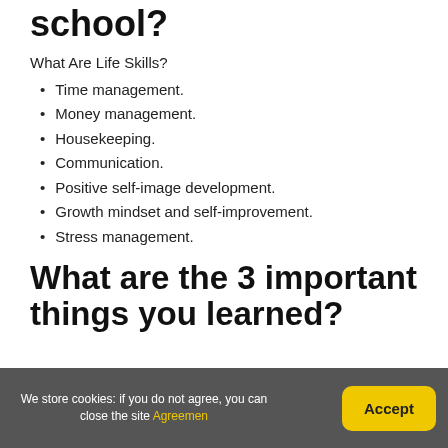school?
What Are Life Skills?
Time management.
Money management.
Housekeeping.
Communication.
Positive self-image development.
Growth mindset and self-improvement.
Stress management.
What are the 3 important things you learned?
We store cookies: if you do not agree, you can close the site Agreemen